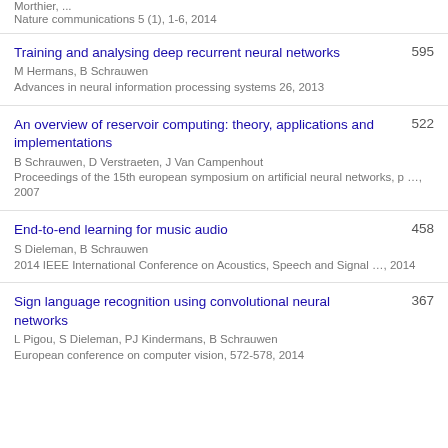Morthier, ...
Nature communications 5 (1), 1-6, 2014
Training and analysing deep recurrent neural networks | 595
M Hermans, B Schrauwen
Advances in neural information processing systems 26, 2013
An overview of reservoir computing: theory, applications and implementations | 522
B Schrauwen, D Verstraeten, J Van Campenhout
Proceedings of the 15th european symposium on artificial neural networks, p ..., 2007
End-to-end learning for music audio | 458
S Dieleman, B Schrauwen
2014 IEEE International Conference on Acoustics, Speech and Signal ..., 2014
Sign language recognition using convolutional neural networks | 367
L Pigou, S Dieleman, PJ Kindermans, B Schrauwen
European conference on computer vision, 572-578, 2014